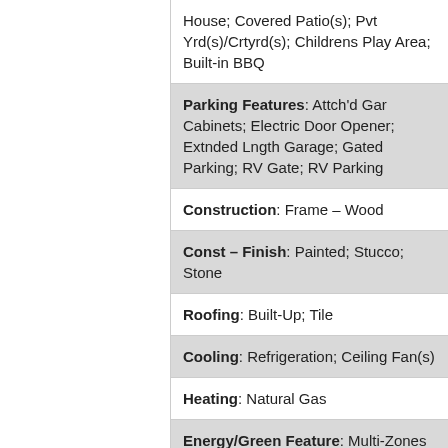House; Covered Patio(s); Pvt Yrd(s)/Crtyrd(s); Childrens Play Area; Built-in BBQ
Parking Features: Attch'd Gar Cabinets; Electric Door Opener; Extnded Lngth Garage; Gated Parking; RV Gate; RV Parking
Construction: Frame – Wood
Const – Finish: Painted; Stucco; Stone
Roofing: Built-Up; Tile
Cooling: Refrigeration; Ceiling Fan(s)
Heating: Natural Gas
Energy/Green Feature: Multi-Zones
Utilities: APS; SW Gas
Water: City Water
Sewer: ...